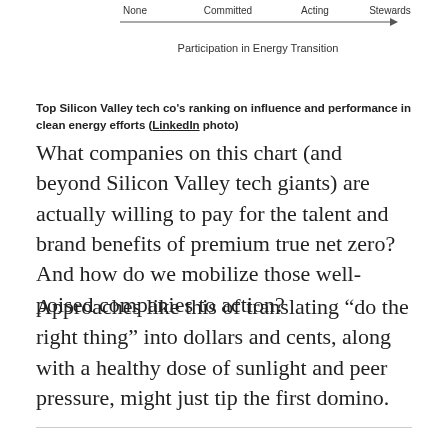[Figure (other): Partial axis bar from a chart showing scale labels: None, Committed, Acting, Stewards, with arrow and label 'Participation in Energy Transition']
Top Silicon Valley tech co's ranking on influence and performance in clean energy efforts (LinkedIn photo)
What companies on this chart (and beyond Silicon Valley tech giants) are actually willing to pay for the talent and brand benefits of premium true net zero? And how do we mobilize those well-poised companies to action?
Approaches like this of translating “do the right thing” into dollars and cents, along with a healthy dose of sunlight and peer pressure, might just tip the first domino.